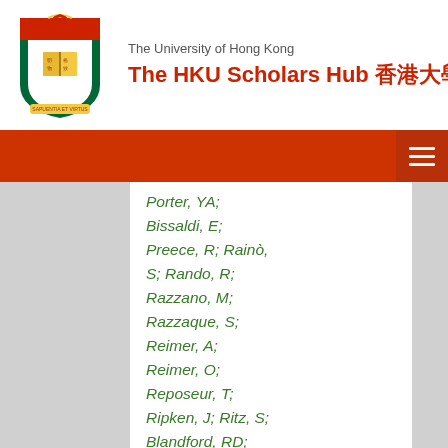The University of Hong Kong
The HKU Scholars Hub 香港大學學術庫
Porter, YA; Bissaldi, E; Preece, R; Rainò, S; Rando, R; Razzano, M; Razzaque, S; Reimer, A; Reimer, O; Reposeur, T; Ripken, J; Ritz, S; Blandford, RD; Rochester, LS; Rodriguez, AY; Roth, M; Ryde, F; Sadrozinski, HFW; Sanchez, D; Sander, A; Saz Parkinson, PM;